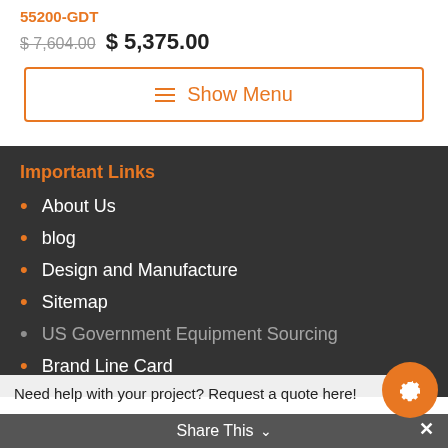55200-GDT
$ 7,604.00  $ 5,375.00
Show Menu
Important Links
About Us
blog
Design and Manufacture
Sitemap
US Government Equipment Sourcing
Brand Line Card
Need help with your project? Request a quote here!
Share This